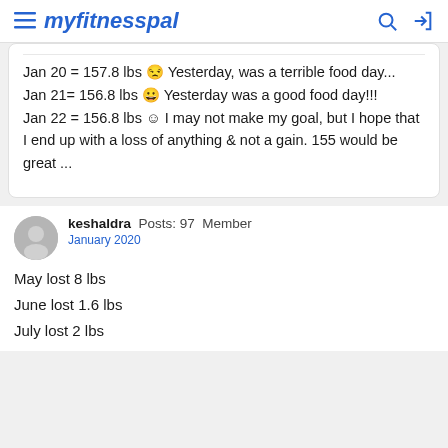myfitnesspal
Jan 20 = 157.8 lbs 😕 Yesterday, was a terrible food day...
Jan 21= 156.8 lbs 🙂 Yesterday was a good food day!!!
Jan 22 = 156.8 lbs 🙂 I may not make my goal, but I hope that I end up with a loss of anything & not a gain. 155 would be great ...
keshaldra  Posts: 97  Member
January 2020

May lost 8 lbs
June lost 1.6 lbs
July lost 2 lbs